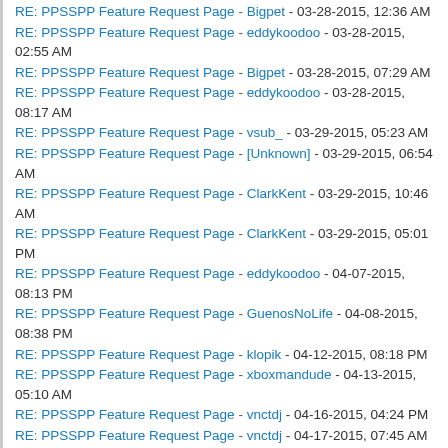RE: PPSSPP Feature Request Page - Bigpet - 03-28-2015, 12:36 AM
RE: PPSSPP Feature Request Page - eddykoodoo - 03-28-2015, 02:55 AM
RE: PPSSPP Feature Request Page - Bigpet - 03-28-2015, 07:29 AM
RE: PPSSPP Feature Request Page - eddykoodoo - 03-28-2015, 08:17 AM
RE: PPSSPP Feature Request Page - vsub_ - 03-29-2015, 05:23 AM
RE: PPSSPP Feature Request Page - [Unknown] - 03-29-2015, 06:54 AM
RE: PPSSPP Feature Request Page - ClarkKent - 03-29-2015, 10:46 AM
RE: PPSSPP Feature Request Page - ClarkKent - 03-29-2015, 05:01 PM
RE: PPSSPP Feature Request Page - eddykoodoo - 04-07-2015, 08:13 PM
RE: PPSSPP Feature Request Page - GuenosNoLife - 04-08-2015, 08:38 PM
RE: PPSSPP Feature Request Page - klopik - 04-12-2015, 08:18 PM
RE: PPSSPP Feature Request Page - xboxmandude - 04-13-2015, 05:10 AM
RE: PPSSPP Feature Request Page - vnctdj - 04-16-2015, 04:24 PM
RE: PPSSPP Feature Request Page - vnctdj - 04-17-2015, 07:45 AM
RE: PPSSPP Feature Request Page - GamerzHell9137 - 04-20-2015, 03:13 PM
RE: PPSSPP Feature Request Page - gnicko - 05-01-2015, 11:49 PM